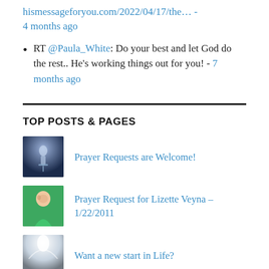hismessageforyou.com/2022/04/17/the… - 4 months ago
RT @Paula_White: Do your best and let God do the rest.. He's working things out for you! - 7 months ago
TOP POSTS & PAGES
[Figure (photo): Thumbnail image for Prayer Requests post - dark blue toned image with microphone silhouette]
Prayer Requests are Welcome!
[Figure (photo): Thumbnail image for Lizette Veyna prayer request - photo of a smiling woman with green background]
Prayer Request for Lizette Veyna – 1/22/2011
[Figure (photo): Thumbnail image for Want a new start in Life post - bright light / glowing image]
Want a new start in Life?